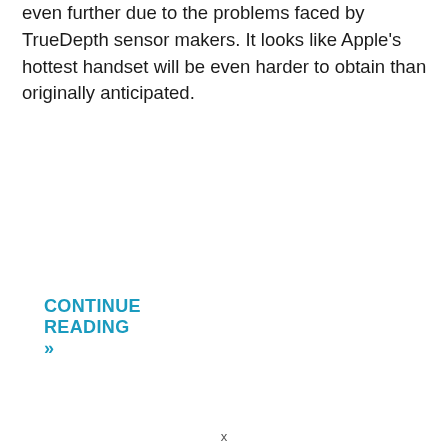even further due to the problems faced by TrueDepth sensor makers. It looks like Apple's hottest handset will be even harder to obtain than originally anticipated.
CONTINUE READING »
x